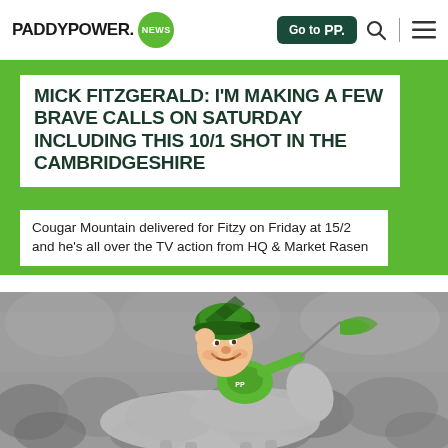PADDYPOWER. NEWS | Go to PP | [search] | [menu]
MICK FITZGERALD: I'M MAKING A FEW BRAVE CALLS ON SATURDAY INCLUDING THIS 10/1 SHOT IN THE CAMBRIDGESHIRE
Cougar Mountain delivered for Fitzy on Friday at 15/2 and he's all over the TV action from HQ & Market Rasen
[Figure (illustration): Illustrated jockey in green Paddy Power colours riding a horse, wearing green diamond-pattern hat, celebrating with raised fist and green flag, against blurred monochrome crowd background]